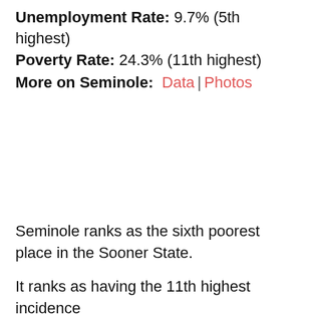Unemployment Rate: 9.7% (5th highest)
Poverty Rate: 24.3% (11th highest)
More on Seminole: Data | Photos
Seminole ranks as the sixth poorest place in the Sooner State.
It ranks as having the 11th highest incidence